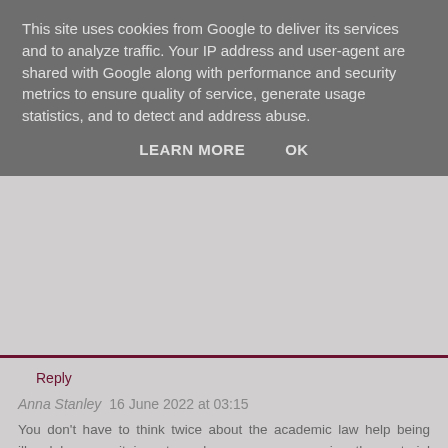This site uses cookies from Google to deliver its services and to analyze traffic. Your IP address and user-agent are shared with Google along with performance and security metrics to ensure quality of service, generate usage statistics, and to detect and address abuse.
LEARN MORE   OK
Reply
Anna Stanley  16 June 2022 at 03:15
You don't have to think twice about the academic law help being illegal because it is not, as long as you are using the material responsibly. So what are you waiting for? Contact professionals at Law Essay Writers and buy criminal law essay help for better and improved grades. You can explain your work requirements and be free from all the worries.
Reply